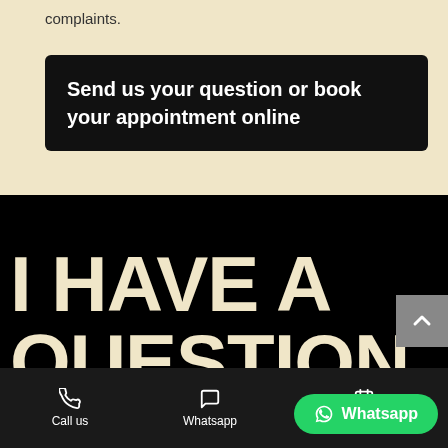complaints.
Send us your question or book your appointment online
I HAVE A QUESTION
Call us   Whatsapp   Whatsapp